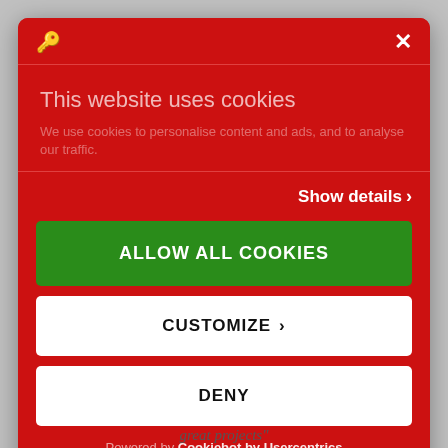[Figure (screenshot): Cookie consent modal dialog with red background, key icon and X close button in header, title 'This website uses cookies', description text, Show details button, green ALLOW ALL COOKIES button, white CUSTOMIZE button, white DENY button, and Cookiebot by Usercentrics attribution.]
This website uses cookies
We use cookies to personalise content and ads, and to analyse our traffic.
Show details >
ALLOW ALL COOKIES
CUSTOMIZE >
DENY
Powered by Cookiebot by Usercentrics
great projects"